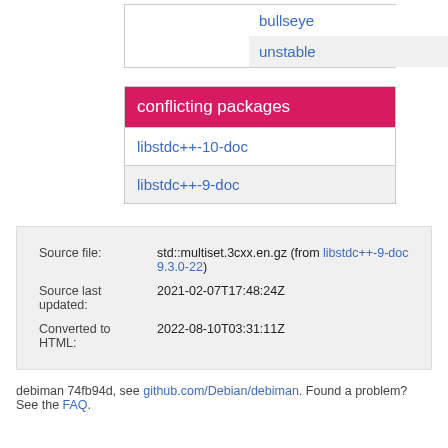| bullseye | 9.3.0-22 |
| unstable | 9.5.0-1 |
| conflicting packages |
| --- |
| libstdc++-10-doc |
| libstdc++-9-doc |
| Source file: | std::multiset.3cxx.en.gz (from libstdc++-9-doc 9.3.0-22) |
| --- | --- |
| Source last updated: | 2021-02-07T17:48:24Z |
| Converted to HTML: | 2022-08-10T03:31:11Z |
debiman 74fb94d, see github.com/Debian/debiman. Found a problem? See the FAQ.